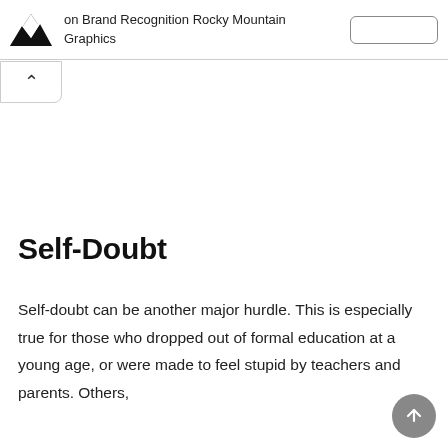on Brand Recognition Rocky Mountain Graphics
[Figure (logo): Rocky Mountain Graphics logo — black mountain/chevron shape]
Self-Doubt
Self-doubt can be another major hurdle. This is especially true for those who dropped out of formal education at a young age, or were made to feel stupid by teachers and parents. Others,